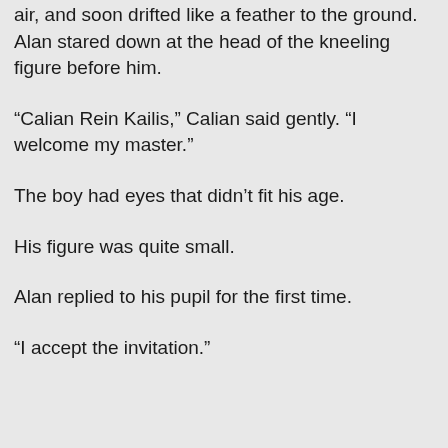air, and soon drifted like a feather to the ground. Alan stared down at the head of the kneeling figure before him.
“Calian Rein Kailis,” Calian said gently. “I welcome my master.”
The boy had eyes that didn’t fit his age.
His figure was quite small.
Alan replied to his pupil for the first time.
“I accept the invitation.”